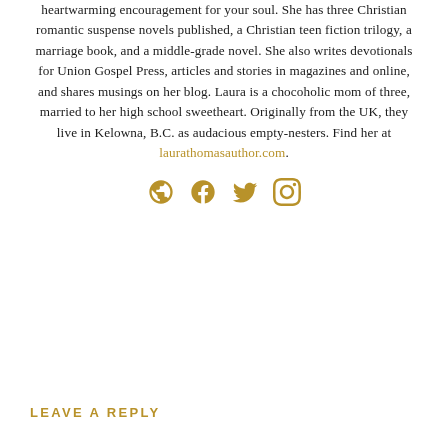heartwarming encouragement for your soul. She has three Christian romantic suspense novels published, a Christian teen fiction trilogy, a marriage book, and a middle-grade novel. She also writes devotionals for Union Gospel Press, articles and stories in magazines and online, and shares musings on her blog. Laura is a chocoholic mom of three, married to her high school sweetheart. Originally from the UK, they live in Kelowna, B.C. as audacious empty-nesters. Find her at laurathomasauthor.com.
[Figure (other): Social media icons: globe/website, Facebook, Twitter, Instagram — all in gold color]
LEAVE A REPLY